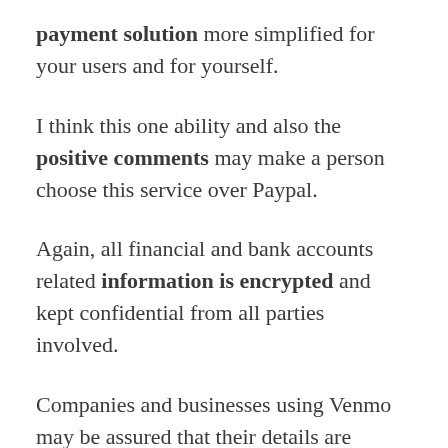payment solution more simplified for your users and for yourself.
I think this one ability and also the positive comments may make a person choose this service over Paypal.
Again, all financial and bank accounts related information is encrypted and kept confidential from all parties involved.
Companies and businesses using Venmo may be assured that their details are completely safe.